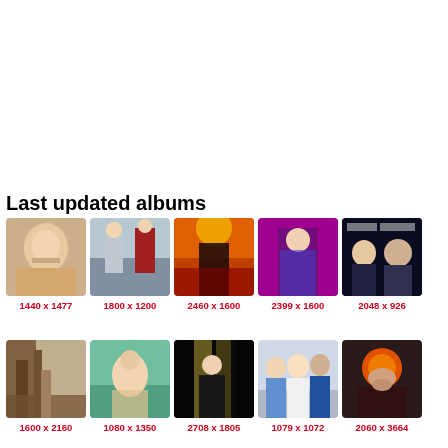Last updated albums
[Figure (photo): Thumbnail photo 1 - blonde woman selfie, 1440x1477]
[Figure (photo): Thumbnail photo 2 - people at event, 1800x1200]
[Figure (photo): Thumbnail photo 3 - performer on red stage, 2460x1600]
[Figure (photo): Thumbnail photo 4 - performer in patterned outfit, 2399x1600]
[Figure (photo): Thumbnail photo 5 - two people at event backdrop, 2048x926]
[Figure (photo): Thumbnail photo 6 - building exterior, 1600x2160]
[Figure (photo): Thumbnail photo 7 - person lying by pool, 1080x1350]
[Figure (photo): Thumbnail photo 8 - performer on dark stage, 2708x1805]
[Figure (photo): Thumbnail photo 9 - group of three people, 1079x1072]
[Figure (photo): Thumbnail photo 10 - person with orange hair, 2060x3664]